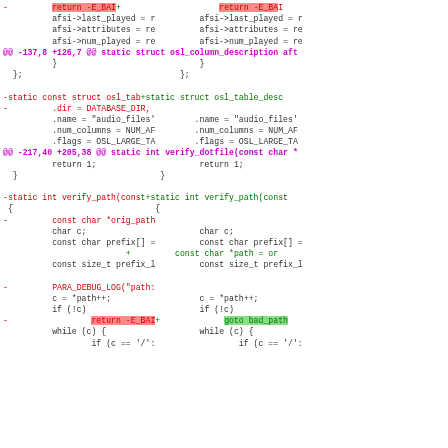[Figure (screenshot): A unified diff view showing two columns of code changes side by side. Left column shows removed lines (red/minus), right column shows added lines (green/plus). Contains diff hunks for osl_column_description, osl_table descriptor, verify_dotfile, and verify_path functions.]